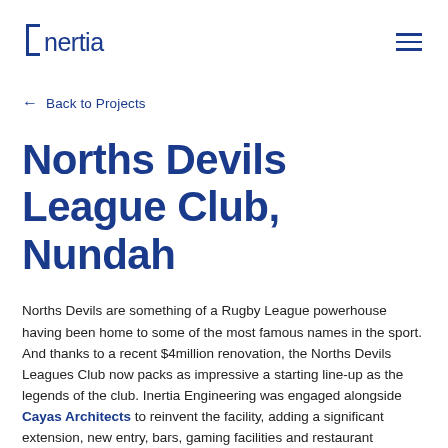Inertia
← Back to Projects
Norths Devils League Club, Nundah
Norths Devils are something of a Rugby League powerhouse having been home to some of the most famous names in the sport. And thanks to a recent $4million renovation, the Norths Devils Leagues Club now packs as impressive a starting line-up as the legends of the club. Inertia Engineering was engaged alongside Cayas Architects to reinvent the facility, adding a significant extension, new entry, bars, gaming facilities and restaurant